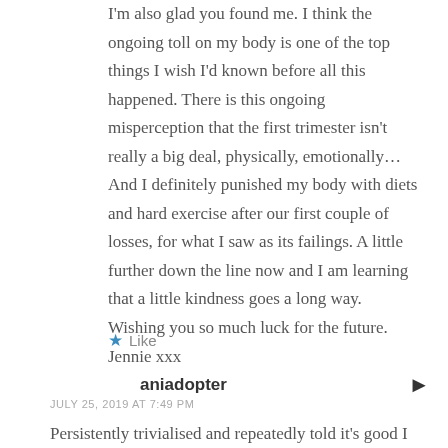I'm also glad you found me. I think the ongoing toll on my body is one of the top things I wish I'd known before all this happened. There is this ongoing misperception that the first trimester isn't really a big deal, physically, emotionally… And I definitely punished my body with diets and hard exercise after our first couple of losses, for what I saw as its failings. A little further down the line now and I am learning that a little kindness goes a long way. Wishing you so much luck for the future. Jennie xxx
★ Like
aniadopter
JULY 25, 2019 AT 7:49 PM
Persistently trivialised and repeatedly told it's good I